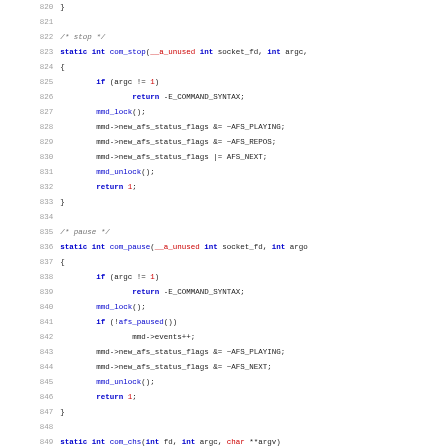[Figure (other): Source code listing in C, lines 820-851, showing com_stop and com_pause functions with syntax highlighting. Line numbers in grey on left, keywords in blue bold, numeric literals in red, function calls in blue.]